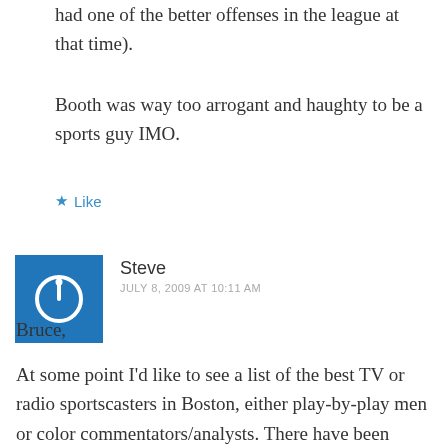had one of the better offenses in the league at that time).
Booth was way too arrogant and haughty to be a sports guy IMO.
★ Like
Steve
JULY 8, 2009 AT 10:11 AM
Bruce,
At some point I'd like to see a list of the best TV or radio sportscasters in Boston, either play-by-play men or color commentators/analysts. There have been